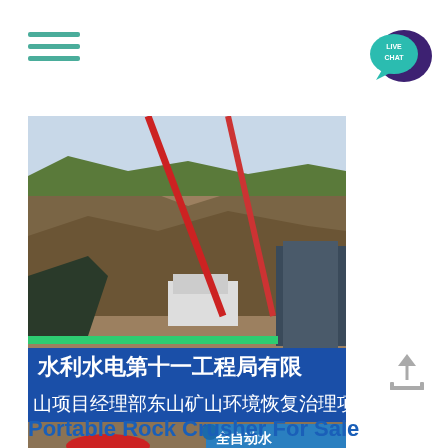[Figure (other): Hamburger menu icon with three teal horizontal lines]
[Figure (other): Live chat speech bubble icon in teal and dark purple with text LIVE CHAT]
[Figure (photo): Construction site photo showing cranes, machinery, rocky hillside, and Chinese text banners reading: 水利水电第十一工程局有限 and 山项目经理部东山矿山环境恢复治理项 and 全自动水]
[Figure (other): Upload/share icon arrow pointing up from a tray]
Portable Rock Crusher For Sale